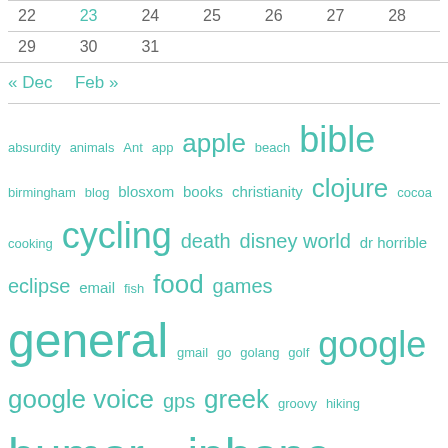| 22 | 23 | 24 | 25 | 26 | 27 | 28 |
| 29 | 30 | 31 |  |  |  |  |
« Dec   Feb »
absurdity animals Ant app apple beach bible birmingham blog blosxom books christianity clojure cocoa cooking cycling death disney world dr horrible eclipse email fish food games general gmail go golang golf google google voice gps greek groovy hiking humor ios iphone itunes java knitting last.fm life lion lisp lolclojure mac movies music musical myrtle beach nature netflix osx parks